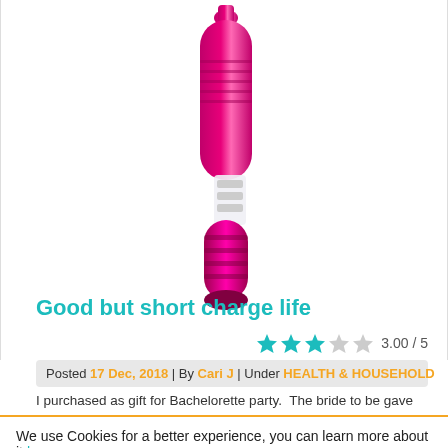[Figure (photo): Pink metallic handheld device product image on white background]
Good but short charge life
[Figure (other): Star rating: 3.00 / 5 — three filled cyan stars and two grey stars]
Posted 17 Dec, 2018 | By Cari J | Under HEALTH & HOUSEHOLD
I purchased as gift for Bachelorette party.  The bride to be gave
We use Cookies for a better experience, you can learn more about it here
GOT IT